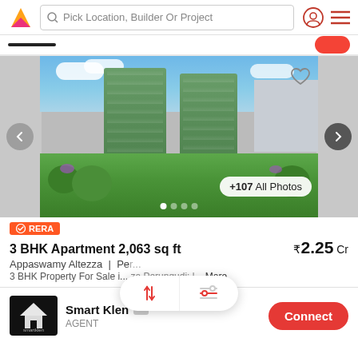Pick Location, Builder Or Project
[Figure (photo): Aerial view of two tall green residential towers with lush landscaping and gardens in foreground]
RERA
3 BHK Apartment 2,063 sq ft  ₹2.25 Cr
Appaswamy Altezza | Pe...
3 BHK Property For Sale i... za Perungudi: l... More
Smart Klen  AGENT
Connect